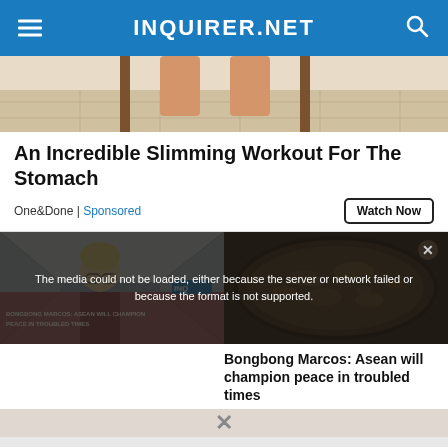INQUIRER.NET
[Figure (photo): Advertisement image showing legs near a chair on a tiled floor]
An Incredible Slimming Workout For The Stomach
One&Done | Sponsored
[Figure (photo): Left: elderly person in a corridor; Right: food cooking in a pan]
The media could not be loaded, either because the server or network failed or because the format is not supported.
Bongbong Marcos: Asean will champion peace in troubled times
BONGBONG MARCOS: ASEAN WILL CHAMPION PEACE IN TROUBLED TIMES